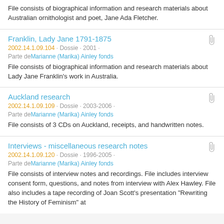File consists of biographical information and research materials about Australian ornithologist and poet, Jane Ada Fletcher.
Franklin, Lady Jane 1791-1875
2002.14.1.09.104 · Dossie · 2001 · Parte de Marianne (Marika) Ainley fonds
File consists of biographical information and research materials about Lady Jane Franklin's work in Australia.
Auckland research
2002.14.1.09.109 · Dossie · 2003-2006 · Parte de Marianne (Marika) Ainley fonds
File consists of 3 CDs on Auckland, receipts, and handwritten notes.
Interviews - miscellaneous research notes
2002.14.1.09.120 · Dossie · 1996-2005 · Parte de Marianne (Marika) Ainley fonds
File consists of interview notes and recordings. File includes interview consent form, questions, and notes from interview with Alex Hawley. File also includes a tape recording of Joan Scott's presentation "Rewriting the History of Feminism" at